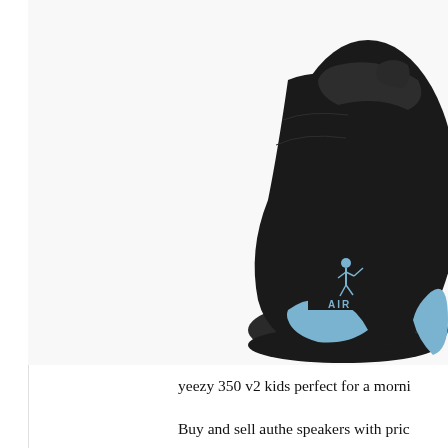[Figure (photo): Rear/side view of a black Air Jordan sneaker with light blue accents and the Jumpman AIR logo, partially cut off on the right side of the image. White background.]
yeezy 350 v2 kids perfect for a morni
Buy and sell authe speakers with pric